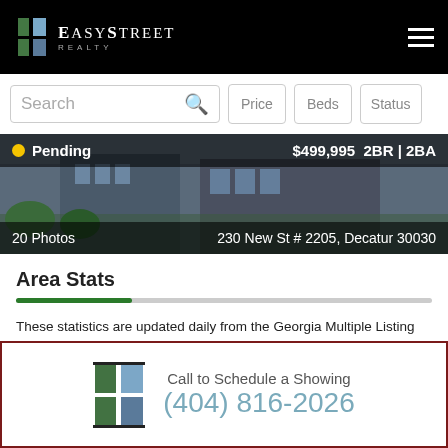EasyStreet Realty
Search | Price | Beds | Status
[Figure (photo): Property exterior photo showing modern building with Pending status overlay, $499,995, 2BR | 2BA, 20 Photos, 230 New St # 2205, Decatur 30030]
Area Stats
These statistics are updated daily from the Georgia Multiple Listing Service. For further analysis or to obtain statistics not shown below please call EasyStreet Realty at (404) 816-2026 and speak with one of our real estate consultants.
Popular Homes
Call to Schedule a Showing
(404) 816-2026